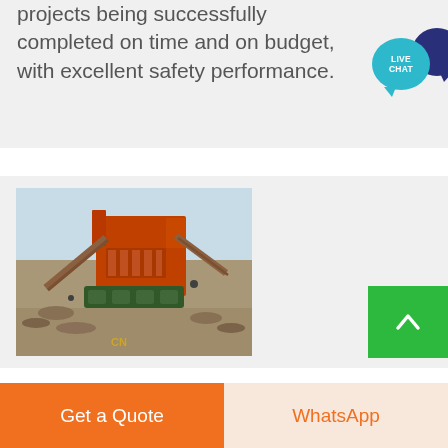projects being successfully completed on time and on budget, with excellent safety performance.
[Figure (illustration): Live chat widget with teal speech bubble labeled LIVE CHAT and dark navy background bubble]
[Figure (photo): Mining or quarrying equipment — large orange industrial crushing/screening plant at a quarry site with conveyors and machinery, watermarked CN]
Get a Quote
WhatsApp